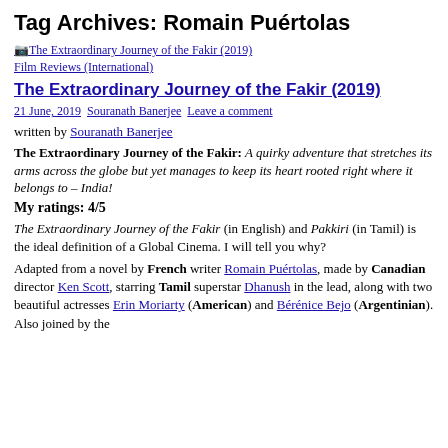Tag Archives: Romain Puértolas
The Extraordinary Journey of the Fakir (2019)
Film Reviews (International)
The Extraordinary Journey of the Fakir (2019)
21 June, 2019  Souranath Banerjee  Leave a comment
written by Souranath Banerjee
The Extraordinary Journey of the Fakir: A quirky adventure that stretches its arms across the globe but yet manages to keep its heart rooted right where it belongs to – India!
My ratings: 4/5
The Extraordinary Journey of the Fakir (in English) and Pakkiri (in Tamil) is the ideal definition of a Global Cinema. I will tell you why?
Adapted from a novel by French writer Romain Puértolas, made by Canadian director Ken Scott, starring Tamil superstar Dhanush in the lead, along with two beautiful actresses Erin Moriarty (American) and Bérénice Bejo (Argentinian). Also joined by the